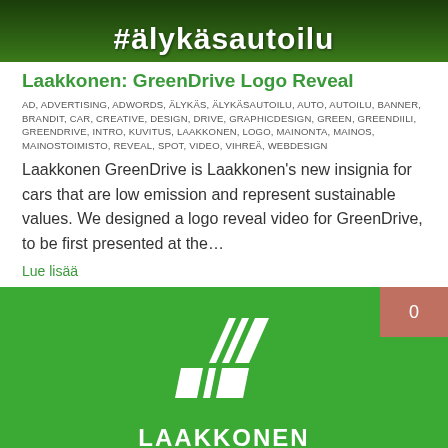[Figure (photo): Dark green nature/forest background image with white bold hashtag text '#älykäsautoilu' overlaid at bottom]
Laakkonen: GreenDrive Logo Reveal
AD, ADVERTISING, ADWORDS, ÄLYKÄS, ÄLYKÄSAUTOILU, AUTO, AUTOILU, BANNER, BRANDIT, CAR, CREATIVE, DESIGN, DRIVE, GRAPHICDESIGN, GREEN, GREENDIILI, GREENDRIVE, INTRO, KUVITUS, LAAKKONEN, LOGO, MAINONTA, MAINOS, MAINOSTOIMISTO, REVEAL, SPOT, VIDEO, VIHREÄ, WEBDESIGN
Laakkonen GreenDrive is Laakkonen's new insignia for cars that are low emission and represent sustainable values. We designed a logo reveal video for GreenDrive, to be first presented at the…
Lue lisää
[Figure (logo): Green card with Laakkonen GreenDrive logo — white geometric L-shaped parallelogram logo mark above white text LAAKKONEN and lighter GreenDrive text. Brown/terracotta badge in top-right corner showing '0'.]